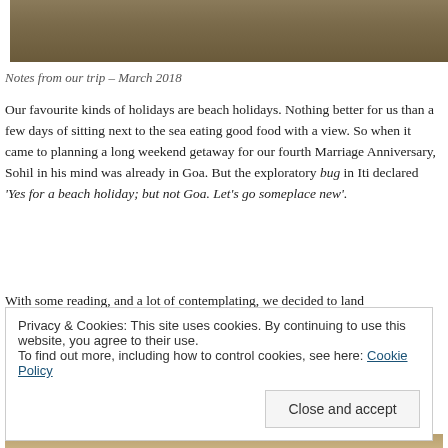[Figure (photo): Top portion of a photo, brownish/earthy tones, cropped at top of page]
Notes from our trip – March 2018
Our favourite kinds of holidays are beach holidays. Nothing better for us than a few days of sitting next to the sea eating good food with a view. So when it came to planning a long weekend getaway for our fourth Marriage Anniversary, Sohil in his mind was already in Goa. But the exploratory bug in Iti declared 'Yes for a beach holiday; but not Goa. Let's go someplace new'.
With some reading, and a lot of contemplating, we decided to land
Privacy & Cookies: This site uses cookies. By continuing to use this website, you agree to their use.
To find out more, including how to control cookies, see here: Cookie Policy
Close and accept
[Figure (photo): Bottom sliver of a photo showing warm earthy/sandy tones]